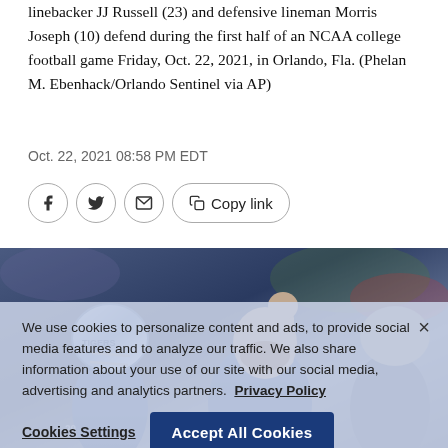linebacker JJ Russell (23) and defensive lineman Morris Joseph (10) defend during the first half of an NCAA college football game Friday, Oct. 22, 2021, in Orlando, Fla. (Phelan M. Ebenhack/Orlando Sentinel via AP)
Oct. 22, 2021 08:58 PM EDT
[Figure (photo): Football players in Memphis Tigers uniforms on the sideline during a college football game]
We use cookies to personalize content and ads, to provide social media features and to analyze our traffic. We also share information about your use of our site with our social media, advertising and analytics partners. Privacy Policy
Cookies Settings | Accept All Cookies